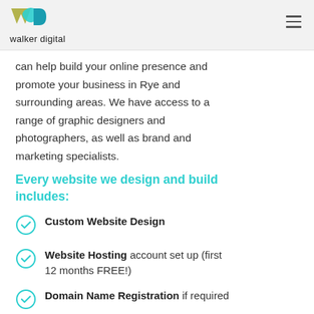walker digital
can help build your online presence and promote your business in Rye and surrounding areas. We have access to a range of graphic designers and photographers, as well as brand and marketing specialists.
Every website we design and build includes:
Custom Website Design
Website Hosting account set up (first 12 months FREE!)
Domain Name Registration if required